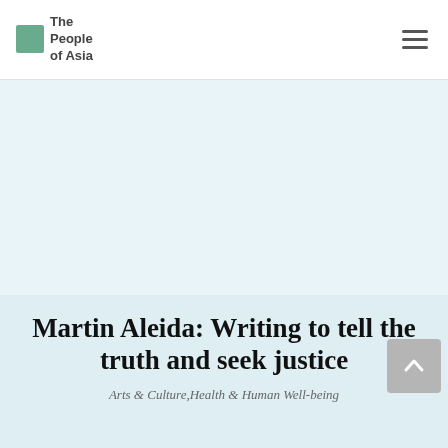The People of Asia
[Figure (photo): Hero image area, light blue-grey background representing a photograph placeholder]
Martin Aleida: Writing to tell the truth and seek justice
Arts & Culture,Health & Human Well-being